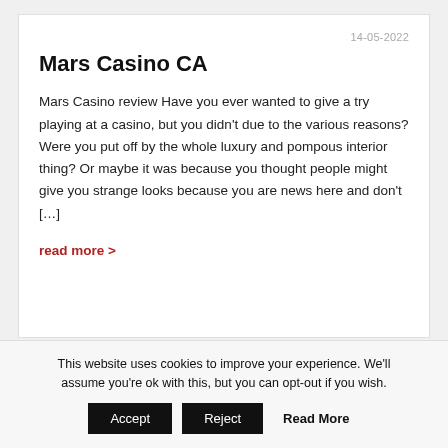14-05-2022
Mars Casino CA
Mars Casino review Have you ever wanted to give a try playing at a casino, but you didn't due to the various reasons? Were you put off by the whole luxury and pompous interior thing? Or maybe it was because you thought people might give you strange looks because you are news here and don't […]
read more >
This website uses cookies to improve your experience. We'll assume you're ok with this, but you can opt-out if you wish.
Accept | Reject | Read More